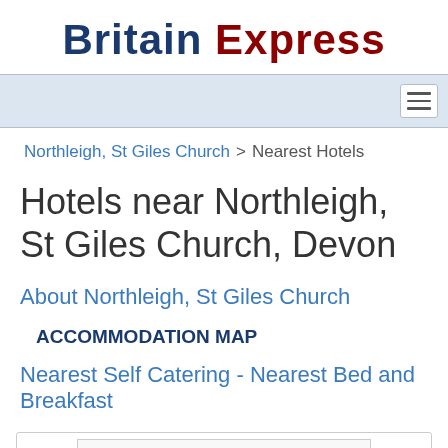Britain Express
[Figure (screenshot): Navigation bar with hamburger menu icon]
Northleigh, St Giles Church > Nearest Hotels
Hotels near Northleigh, St Giles Church, Devon
About Northleigh, St Giles Church
ACCOMMODATION MAP
Nearest Self Catering - Nearest Bed and Breakfast
[Figure (map): Partial map box at the bottom of the page]